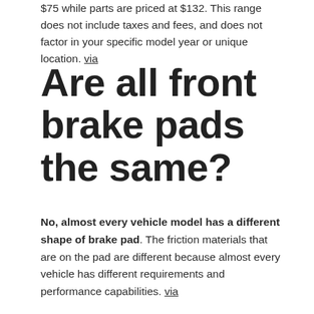$75 while parts are priced at $132. This range does not include taxes and fees, and does not factor in your specific model year or unique location. via
Are all front brake pads the same?
No, almost every vehicle model has a different shape of brake pad. The friction materials that are on the pad are different because almost every vehicle has different requirements and performance capabilities. via